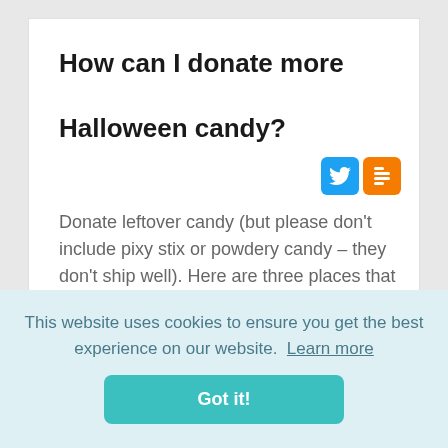How can I donate more Halloween candy?
[Figure (logo): Twitter bird icon (blue square) and Blogger icon (orange square) side by side]
Donate leftover candy (but please don't include pixy stix or powdery candy – they don't ship well). Here are three places that will accept your candy. You can find a
This website uses cookies to ensure you get the best experience on our website. Learn more
Got it!